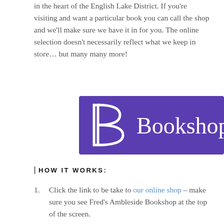in the heart of the English Lake District. If you're visiting and want a particular book you can call the shop and we'll make sure we have it in for you. The online selection doesn't necessarily reflect what we keep in store... but many many more!
[Figure (logo): Bookshop.org logo — purple rectangle with a stylized B and the word Bookshop in white serif text]
HOW IT WORKS:
Click the link to be take to our online shop – make sure you see Fred's Ambleside Bookshop at the top of the screen.
Scroll down to browse our curated lists, where you'll find most genres you'd expect to find in our shop! See if there is anything you fancy – then order online following the instructions – sit back and wait for the postie to bring your